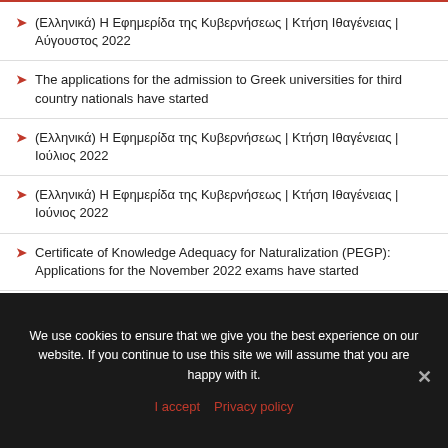(Ελληνικά) Η Εφημερίδα της Κυβερνήσεως | Κτήση Ιθαγένειας | Αύγουστος 2022
The applications for the admission to Greek universities for third country nationals have started
(Ελληνικά) Η Εφημερίδα της Κυβερνήσεως | Κτήση Ιθαγένειας | Ιούλιος 2022
(Ελληνικά) Η Εφημερίδα της Κυβερνήσεως | Κτήση Ιθαγένειας | Ιούνιος 2022
Certificate of Knowledge Adequacy for Naturalization (PEGP): Applications for the November 2022 exams have started
Undocumented children, children in danger. Until when...?
We use cookies to ensure that we give you the best experience on our website. If you continue to use this site we will assume that you are happy with it.
I accept  Privacy policy